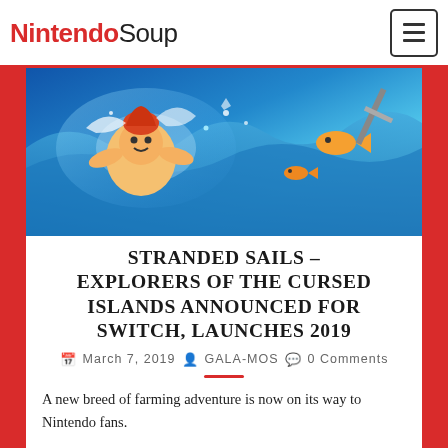NintendoSoup
[Figure (illustration): Colorful fantasy game artwork showing animated characters including a round character with orange hair swimming or floating amidst blue waves and glowing effects, with fish and other characters visible]
STRANDED SAILS – EXPLORERS OF THE CURSED ISLANDS ANNOUNCED FOR SWITCH, LAUNCHES 2019
March 7, 2019  GALA-MOS  0 Comments
A new breed of farming adventure is now on its way to Nintendo fans.